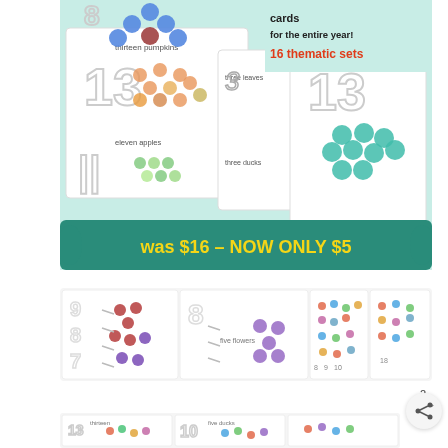[Figure (photo): Promotional image for counting cards resource. Shows flashcards with numbers (8, 13, 11) and themed illustrations (pumpkins, leaves, apples, ducks, ice cream). Top right text: 'cards for the entire year! 16 thematic sets'. Bottom banner: 'was $16 – NOW ONLY $5' in yellow text on dark teal background.]
[Figure (photo): Strip of four photos showing counting card sets with various colored dot manipulatives on cards with numbers 7, 8, 9, 10 and themed illustrations.]
2
[Figure (photo): Partial view of another counting card set photo at bottom of page, partially cropped.]